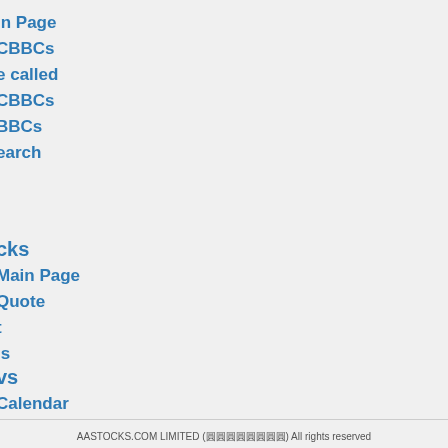in Page
CBBCs
e called
CBBCs
BBCs
earch
cks
Main Page
Quote
t
is
vs
Calendar
omic Data
AASTOCKS.COM LIMITED (圓圓圓圓圓圓圓圓) All rights reserved